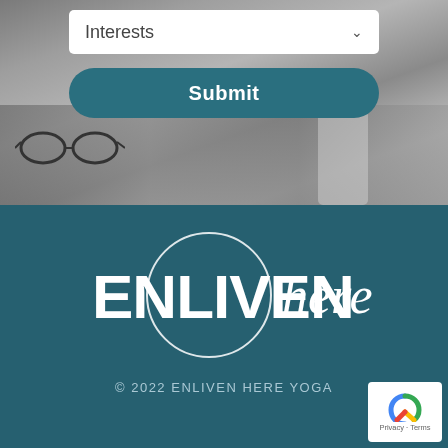[Figure (screenshot): Top section showing a grayscale background photo of a desk with glasses and a mug, with a white dropdown box labeled 'Interests' and a teal 'Submit' button]
Interests
Submit
[Figure (logo): ENLIVENhere logo in white text on teal background, with a circle outline around the N letters]
© 2022 ENLIVEN HERE YOGA
[Figure (other): reCAPTCHA badge with Privacy and Terms links]